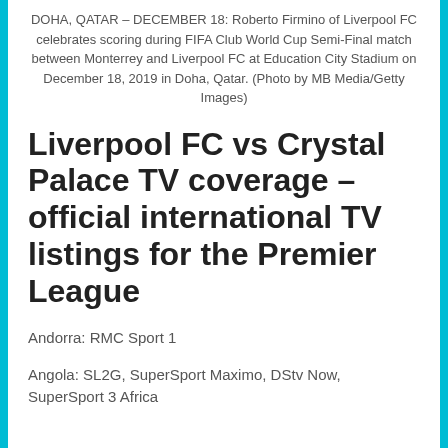DOHA, QATAR – DECEMBER 18: Roberto Firmino of Liverpool FC celebrates scoring during FIFA Club World Cup Semi-Final match between Monterrey and Liverpool FC at Education City Stadium on December 18, 2019 in Doha, Qatar. (Photo by MB Media/Getty Images)
Liverpool FC vs Crystal Palace TV coverage – official international TV listings for the Premier League
Andorra: RMC Sport 1
Angola: SL2G, SuperSport Maximo, DStv Now, SuperSport 3 Africa